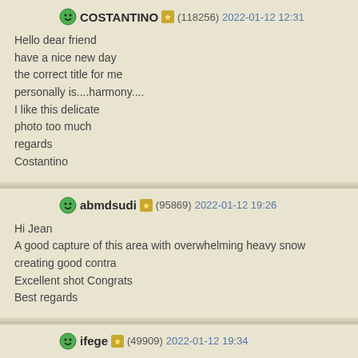COSTANTINO (118256) 2022-01-12 12:31
Hello dear friend
have a nice new day
the correct title for me
personally is....harmony....
I like this delicate
photo too much
regards
Costantino
abmdsudi (95869) 2022-01-12 19:26
Hi Jean
A good capture of this area with overwhelming heavy snow creating good contra
Excellent shot Congrats
Best regards
ifege (49909) 2022-01-12 19:34
Hi Jean
Well composed with all that symmetry and the taller trees framing the peak. And
cheers
Ian